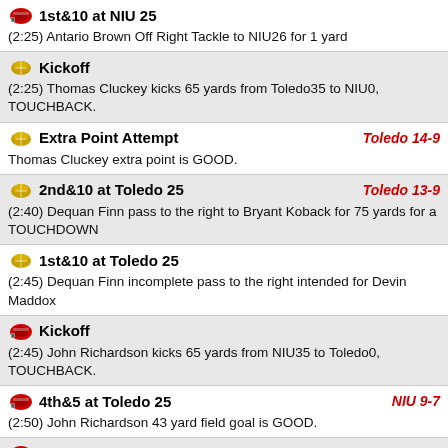1st&10 at NIU 25
(2:25) Antario Brown Off Right Tackle to NIU26 for 1 yard
Kickoff
(2:25) Thomas Cluckey kicks 65 yards from Toledo35 to NIU0, TOUCHBACK.
Extra Point Attempt | Toledo 14-9
Thomas Cluckey extra point is GOOD.
2nd&10 at Toledo 25 | Toledo 13-9
(2:40) Dequan Finn pass to the right to Bryant Koback for 75 yards for a TOUCHDOWN
1st&10 at Toledo 25
(2:45) Dequan Finn incomplete pass to the right intended for Devin Maddox
Kickoff
(2:45) John Richardson kicks 65 yards from NIU35 to Toledo0, TOUCHBACK.
4th&5 at Toledo 25 | NIU 9-7
(2:50) John Richardson 43 yard field goal is GOOD.
3rd&5 at Toledo 25
(2:54) Rocky Lombardi incomplete pass to the left intended for Messiah Travis
2nd&6 at Toledo 26
(3:37) Antario Brown Off Right Tackle to Toledo25 for 1 yard
1st&10 at Toledo 30
(4:00) Antario Brown Off Right Tackle to Toledo26 for 4 yards